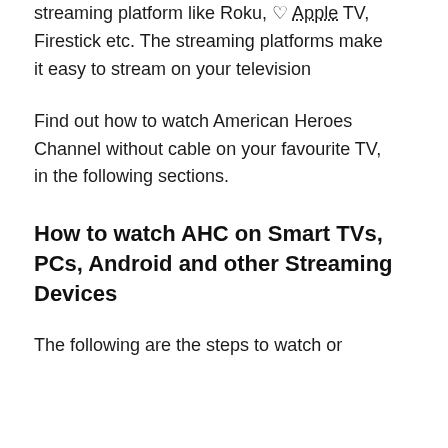streaming platform like Roku, ♡ Apple TV, Firestick etc. The streaming platforms make it easy to stream on your television
Find out how to watch American Heroes Channel without cable on your favourite TV, in the following sections.
How to watch AHC on Smart TVs, PCs, Android and other Streaming Devices
The following are the steps to watch or